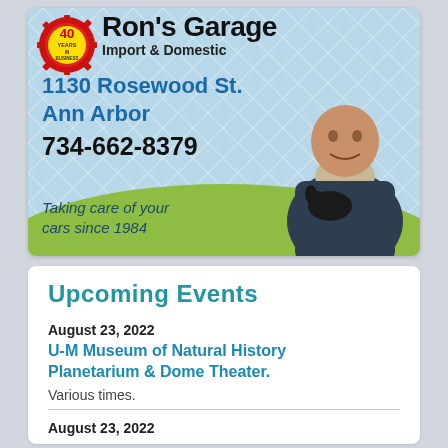[Figure (advertisement): Ron's Garage advertisement with logo, address 1130 Rosewood St. Ann Arbor, phone 734-662-8379, tagline 'Taking care of your cars since 1984', photo of man holding a dog, 40 Years in Business badge]
Upcoming Events
August 23, 2022
U-M Museum of Natural History Planetarium & Dome Theater.
Various times.
August 23, 2022